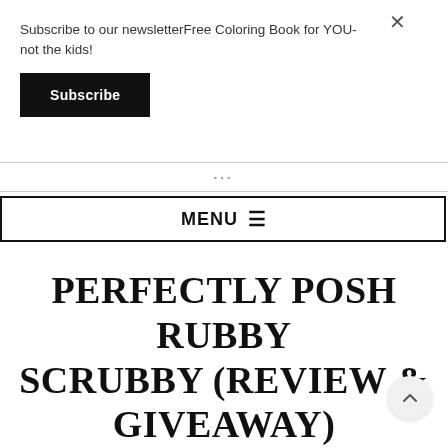Subscribe to our newsletterFree Coloring Book for YOU- not the kids!
Subscribe
MENU ☰
PERFECTLY POSH RUBBY SCRUBBY (REVIEW & GIVEAWAY)